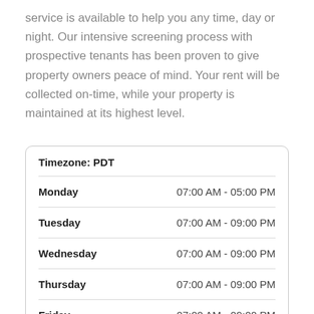service is available to help you any time, day or night. Our intensive screening process with prospective tenants has been proven to give property owners peace of mind. Your rent will be collected on-time, while your property is maintained at its highest level.
| Day | Hours |
| --- | --- |
| Monday | 07:00 AM - 05:00 PM |
| Tuesday | 07:00 AM - 09:00 PM |
| Wednesday | 07:00 AM - 09:00 PM |
| Thursday | 07:00 AM - 09:00 PM |
| Friday | 07:00 AM - 09:00 PM |